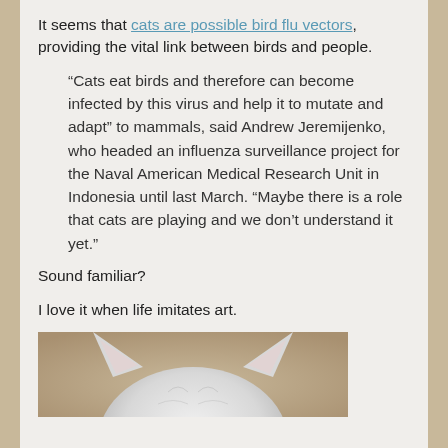It seems that cats are possible bird flu vectors, providing the vital link between birds and people.
“Cats eat birds and therefore can become infected by this virus and help it to mutate and adapt” to mammals, said Andrew Jeremijenko, who headed an influenza surveillance project for the Naval American Medical Research Unit in Indonesia until last March. “Maybe there is a role that cats are playing and we don’t understand it yet.”
Sound familiar?
I love it when life imitates art.
[Figure (photo): Close-up photo of a white cat's face from above, showing ears and top of head against a beige/tan background]